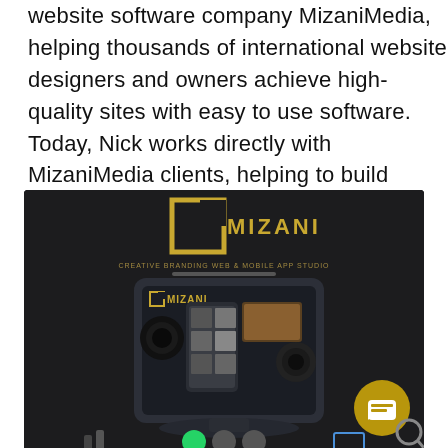website software company MizaniMedia, helping thousands of international website designers and owners achieve high-quality sites with easy to use software. Today, Nick works directly with MizaniMedia clients, helping to build custom website experiences.
[Figure (photo): Dark-themed MizaniMedia branding image showing a tablet device with the MIZANI logo and a golden square bracket logo mark, smartphone display, and a gold circular chat button in the bottom right corner. Text reads 'CREATIVE BRANDING WEB & MOBILE APP STUDIO'.]